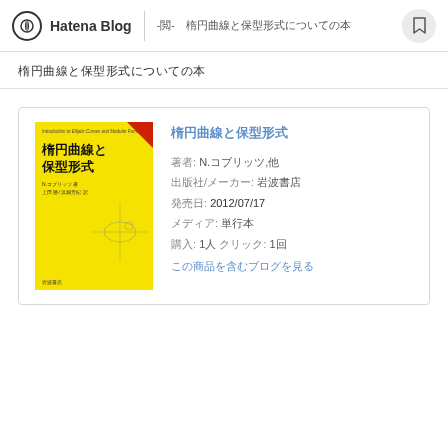Hatena Blog -閲- 楕円曲線と保型形式についての本
楕円曲線と保型形式についての本
[Figure (other): Book card showing yellow cover of '楕円曲線と保型形式' with book metadata including author N.コブリッツ, date 2012/07/17]
著者: N.コブリッツ,他
出版社/メーカー: 岩波書店
発売日: 2012/07/17
メディア: 単行本
購入: 1人 クリック: 1回
この商品を含むブログを見る